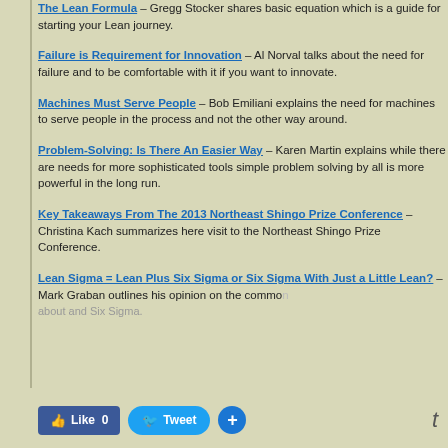The Lean Formula – Gregg Stocker shares basic equation which is a guide for starting your Lean journey.
Failure is Requirement for Innovation – Al Norval talks about the need for failure and to be comfortable with it if you want to innovate.
Machines Must Serve People – Bob Emiliani explains the need for machines to serve people in the process and not the other way around.
Problem-Solving: Is There An Easier Way – Karen Martin explains while there are needs for more sophisticated tools simple problem solving by all is more powerful in the long run.
Key Takeaways From The 2013 Northeast Shingo Prize Conference – Christina Kach summarizes here visit to the Northeast Shingo Prize Conference.
Lean Sigma = Lean Plus Six Sigma or Six Sigma With Just a Little Lean? – Mark Graban outlines his opinion on the common about and Six Sigma.
Like 0  Tweet  +  t